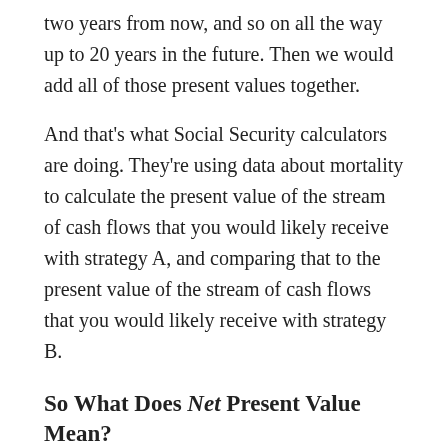two years from now, and so on all the way up to 20 years in the future. Then we would add all of those present values together.
And that's what Social Security calculators are doing. They're using data about mortality to calculate the present value of the stream of cash flows that you would likely receive with strategy A, and comparing that to the present value of the stream of cash flows that you would likely receive with strategy B.
So What Does Net Present Value Mean?
The net present value of an investment/strategy is the sum of the present values of all of the cash flows received, minus the sum of the present values of all of the cash outflows. In the case of Social Security claiming strategies, however, there are no relevant cash outflows. That is, the cash outflows are the Social Security payroll taxes you pay over the course of your career in order to qualify for a benefit, but those taxes are the same regardless of which claiming strategy you use, so we do not need to include them in an analysis